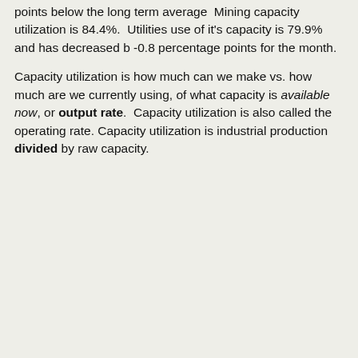points below the long term average  Mining capacity utilization is 84.4%.  Utilities use of it's capacity is 79.9% and has decreased b -0.8 percentage points for the month.
Capacity utilization is how much can we make vs. how much are we currently using, of what capacity is available now, or output rate.  Capacity utilization is also called the operating rate. Capacity utilization is industrial production divided by raw capacity.